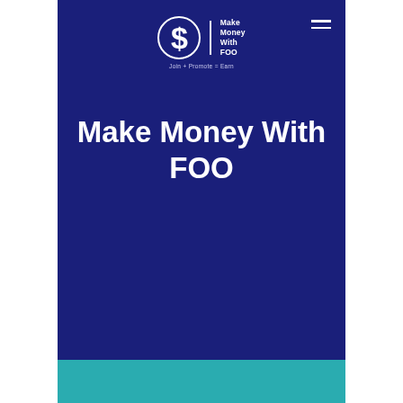$ Make Money With FOO | Join + Promote = Earn
Make Money With FOO